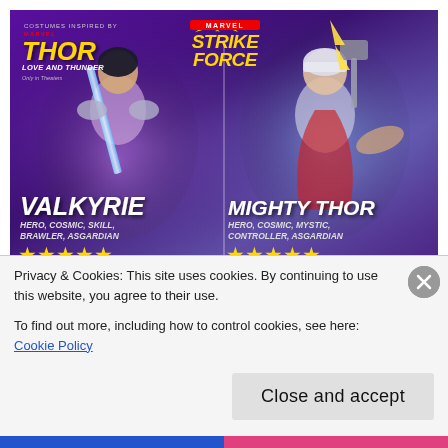[Figure (illustration): Marvel Strike Force promotional game banner featuring two characters: Valkyrie (left, hero with sword, tagged HERO, COSMIC, SKILL, BRAWLER, ASGARDIAN, 5 stars) and Mighty Thor (right, hero with hammer, tagged HERO, COSMIC, MYSTIC, CONTROLLER, ASGARDIAN, 5 stars). Thor Love and Thunder branding top-left, Marvel Strike Force logo top-center.]
iPhone owners are obsessed with this Marvel game
Privacy & Cookies: This site uses cookies. By continuing to use this website, you agree to their use.
To find out more, including how to control cookies, see here: Cookie Policy
Close and accept